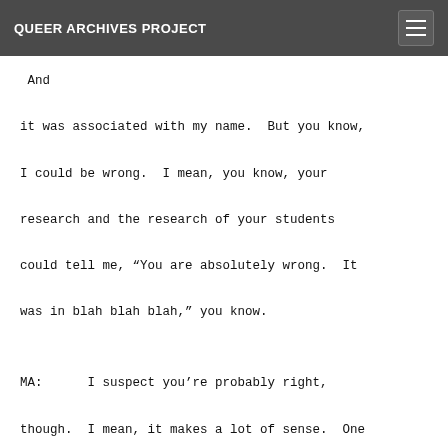QUEER ARCHIVES PROJECT
And it was associated with my name.  But you know, I could be wrong.  I mean, you know, your research and the research of your students could tell me, “You are absolutely wrong.  It was in blah blah blah,” you know.
MA:      I suspect you’re probably right, though.  I mean, it makes a lot of sense.  One thing we definitely want to do is accompany